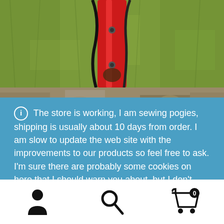[Figure (photo): Close-up photo of a red bicycle fork/frame part with black cables, on green grass background]
[Figure (photo): Partial photo of rocky/dirt ground, partially obscured by banner overlay]
The store is working, I am sewing pogies, shipping is usually about 10 days from order. I am slow to update the web site with the improvements to our products so feel free to ask. I'm sure there are probably some cookies on here that I should warn you about, but I don't know how to access them and dominate the world.
Dismiss